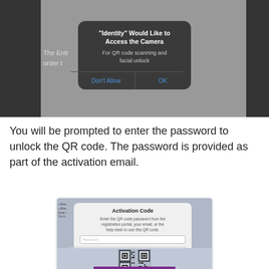[Figure (screenshot): iOS camera permission dialog: '"Identity" Would Like to Access the Camera' with subtitle 'For QR code scanning and facial unlock' and buttons 'Don't Allow' and 'OK']
You will be prompted to enter the password to unlock the QR code. The password is provided as part of the activation email.
[Figure (screenshot): Activation Code dialog showing 'Enter the QR code password from the registration portal, your email, or the help desk to use this QR code.' with Password field and Cancel/OK buttons, QR code below]
Review the information and ensure it matches the company name you expect.